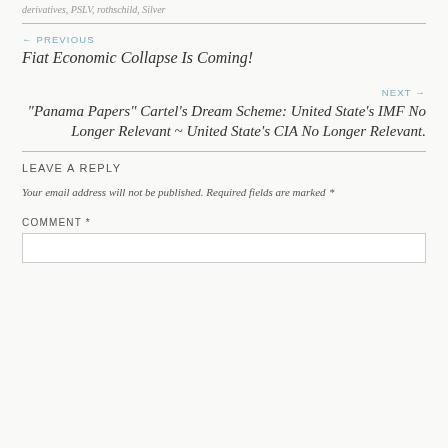derivatives, PSLV, rothschild, Silver
← PREVIOUS
Fiat Economic Collapse Is Coming!
NEXT →
"Panama Papers" Cartel's Dream Scheme: United State's IMF No Longer Relevant ~ United State's CIA No Longer Relevant.
LEAVE A REPLY
Your email address will not be published. Required fields are marked *
COMMENT *